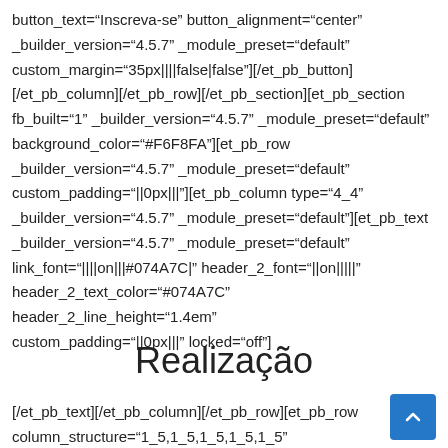button_text="Inscreva-se" button_alignment="center" _builder_version="4.5.7" _module_preset="default" custom_margin="35px||||false|false"][/et_pb_button][/et_pb_column][/et_pb_row][/et_pb_section][et_pb_section fb_built="1" _builder_version="4.5.7" _module_preset="default" background_color="#F6F8FA"][et_pb_row _builder_version="4.5.7" _module_preset="default" custom_padding="||0px|||"][et_pb_column type="4_4" _builder_version="4.5.7" _module_preset="default"][et_pb_text _builder_version="4.5.7" _module_preset="default" link_font="||||on|||#074A7C|" header_2_font="||on||||" header_2_text_color="#074A7C" header_2_line_height="1.4em" custom_padding="||0px|||" locked="off"]
Realização
[/et_pb_text][/et_pb_column][/et_pb_row][et_pb_row column_structure="1_5,1_5,1_5,1_5,1_5" _builder_version="4.5.7"